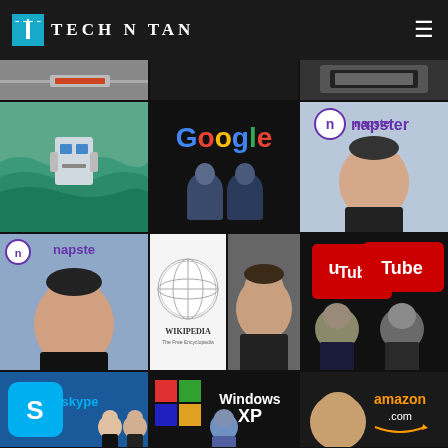[Figure (logo): Tech N Tan website header with logo on dark background]
[Figure (photo): Grid of technology company images and founders including Google, Napster, Wikipedia, YouTube, Skype, Windows XP, Amazon, and MEGA logos with associated people photos]
TECH N TAN